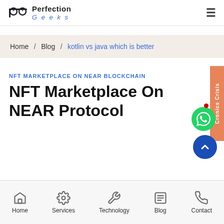Perfection Geeks
Home / Blog / kotlin vs java which is better
NFT MARKETPLACE ON NEAR BLOCKCHAIN
NFT Marketplace On NEAR Protocol
Home  Services  Technology  Blog  Contact